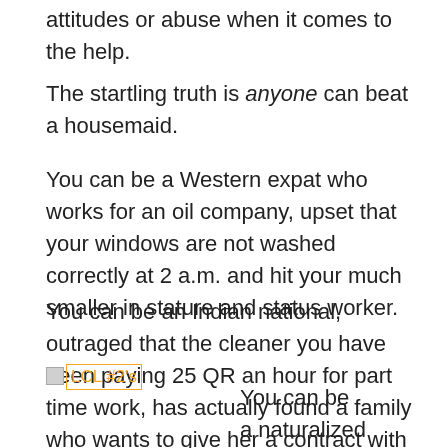attitudes or abuse when it comes to the help.
The startling truth is anyone can beat a housemaid.
You can be a Western expat who works for an oil company, upset that your windows are not washed correctly at 2 a.m. and hit your much smaller in stature and status worker.
You can be an Indian national, outraged that the cleaner you have been paying 25 QR an hour for part time work, has actually found a family who wants to give her a contract with benefits, and shout at her for being selfish.
[Figure (logo): LCL #2's logo with orange border text]
You can be a naturalized Ameri...